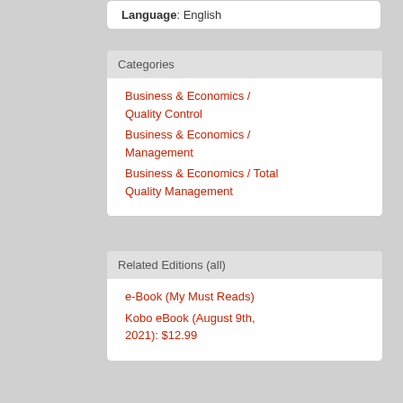Language: English
Categories
Business & Economics / Quality Control
Business & Economics / Management
Business & Economics / Total Quality Management
Related Editions (all)
e-Book (My Must Reads)
Kobo eBook (August 9th, 2021): $12.99